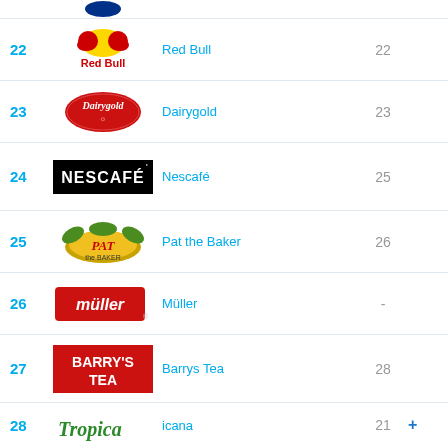22 | Red Bull | 22
23 | Dairygold | 23
24 | Nescafé | 25
25 | Pat the Baker | 26
26 | Müller | -
27 | Barrys Tea | 28
28 | Tropicana | 21